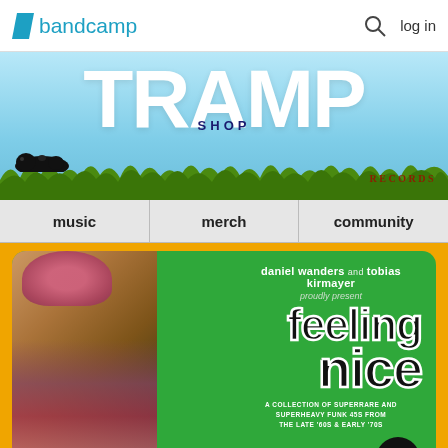bandcamp  log in
[Figure (illustration): Tramp Records banner with large white TRAMP text on light blue sky background with green grass silhouette at bottom, SHOP text in dark blue, RECORDS text in dark red at lower right, black mole silhouette at lower left]
music
merch
community
[Figure (illustration): Album cover for 'Feeling Nice Volume Two' on orange background with green rounded rectangle. Text reads: daniel wanders and tobias kirmayer proudly present feeling nice. A COLLECTION OF SUPERRARE AND SUPERHEAVY FUNK 45s FROM THE LATE '60s & EARLY '70s. Volume TWO badge. Photo of laughing young woman in pink knit hat and colorful top on left side.]